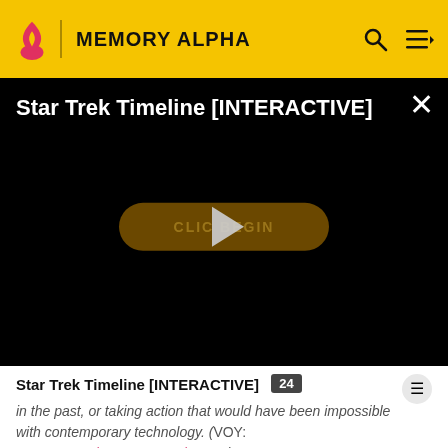MEMORY ALPHA
[Figure (screenshot): Video player showing 'Star Trek Timeline [INTERACTIVE]' with a black background, a 'CLICK TO BEGIN' button with play triangle overlay, and a close X button in the top right.]
Star Trek Timeline [INTERACTIVE]
in the past, or taking action that would have been impossible with contemporary technology. (VOY: "Future's End, Part II", "Endgame")
According to Rear Admiral Norah Satie on stardate